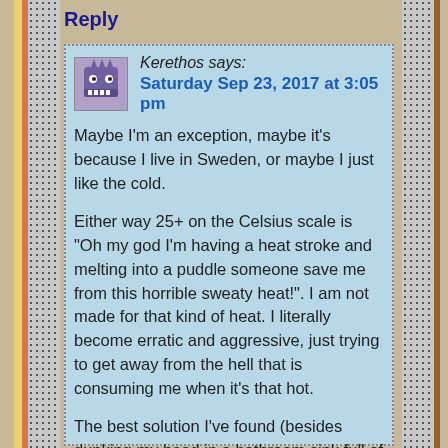Reply
Kerethos says: Saturday Sep 23, 2017 at 3:05 pm
Maybe I'm an exception, maybe it's because I live in Sweden, or maybe I just like the cold.
Either way 25+ on the Celsius scale is "Oh my god I'm having a heat stroke and melting into a puddle someone save me from this horrible sweaty heat!". I am not made for that kind of heat. I literally become erratic and aggressive, just trying to get away from the hell that is consuming me when it's that hot.
The best solution I've found (besides dunking my head in a bathroom sink full of cold water and using the cold wet hair as a heat sink) is